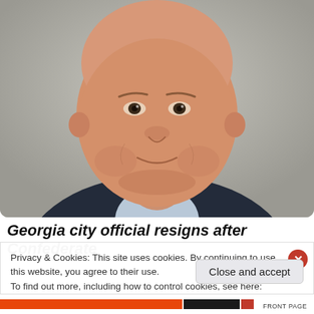[Figure (photo): Professional headshot portrait of an older bald man in a dark suit and light blue shirt, smiling slightly, against a grey background]
Georgia city official resigns after Confederate
Privacy & Cookies: This site uses cookies. By continuing to use this website, you agree to their use.
To find out more, including how to control cookies, see here: Cookie Policy